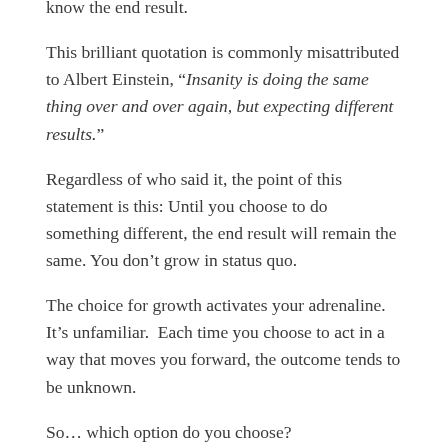know the end result.
This brilliant quotation is commonly misattributed to Albert Einstein, “Insanity is doing the same thing over and over again, but expecting different results.”
Regardless of who said it, the point of this statement is this: Until you choose to do something different, the end result will remain the same. You don’t grow in status quo.
The choice for growth activates your adrenaline. It’s unfamiliar.  Each time you choose to act in a way that moves you forward, the outcome tends to be unknown.
So… which option do you choose?
Though the safety of the comfortable choice can be